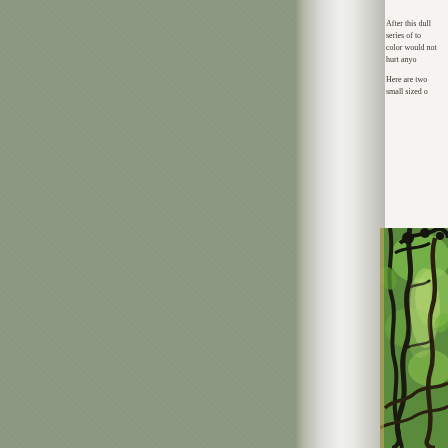[Figure (illustration): A scanned book spread showing: left side is a grayish-green textured background (back cover or left page), a center spine/gutter fold with white and grey tones, and on the right side a white page with partial text visible and a colorful illustration of a jungle/forest scene with dark twisting vines and green foliage, partially cut off at right edge.]
After this dull series of to... color would not hurt anyo...
Here are two small sized o...